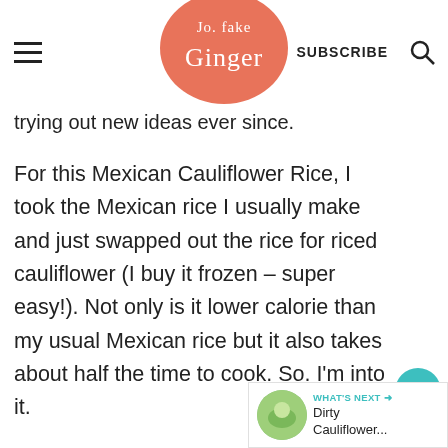Jo Fake Ginger | SUBSCRIBE
trying out new ideas ever since.
For this Mexican Cauliflower Rice, I took the Mexican rice I usually make and just swapped out the rice for riced cauliflower (I buy it frozen – super easy!). Not only is it lower calorie than my usual Mexican rice but it also takes about half the time to cook. So. I'm into it.
[Figure (infographic): Floating heart/like button showing 45 likes and a share icon]
[Figure (infographic): What's Next widget showing Dirty Cauliflower... with thumbnail]